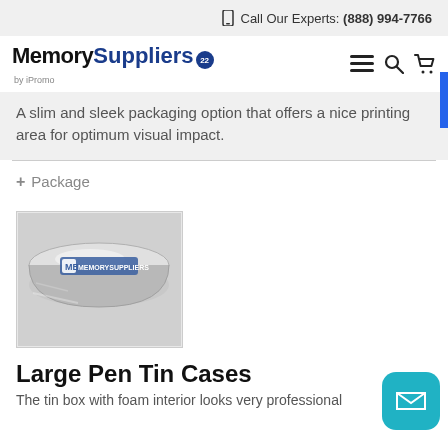Call Our Experts: (888) 994-7766
[Figure (logo): Memory Suppliers by iPromo logo with navigation icons (hamburger menu, search, cart)]
A slim and sleek packaging option that offers a nice printing area for optimum visual impact.
+ Package
[Figure (photo): Silver/metallic large pen tin case with Memory Suppliers logo on lid]
Large Pen Tin Cases
The tin box with foam interior looks very professional